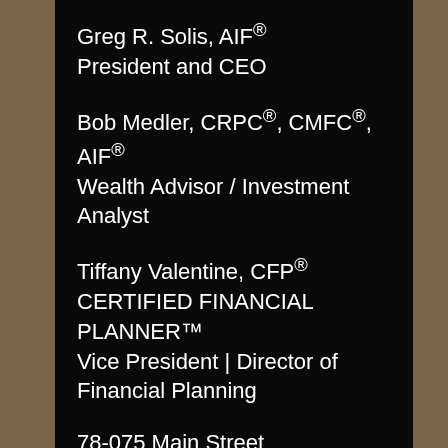Greg R. Solis, AIF®
President and CEO
Bob Medler, CRPC®, CMFC®, AIF®
Wealth Advisor / Investment Analyst
Tiffany Valentine, CFP®
CERTIFIED FINANCIAL PLANNER™
Vice President | Director of Financial Planning
78-075 Main Street
Suite 204
La Quinta, CA 92253
Office: (760) 771-0000